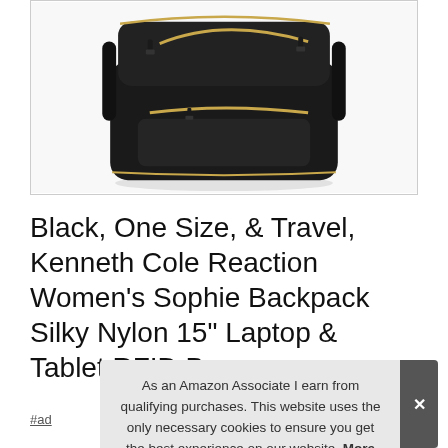[Figure (photo): Black nylon backpack with gold zippers and trim — Kenneth Cole Reaction Women's Sophie Backpack, shown on white background]
Black, One Size, & Travel, Kenneth Cole Reaction Women's Sophie Backpack Silky Nylon 15" Laptop & Tablet RFID Bo
#ad
As an Amazon Associate I earn from qualifying purchases. This website uses the only necessary cookies to ensure you get the best experience on our website. More information